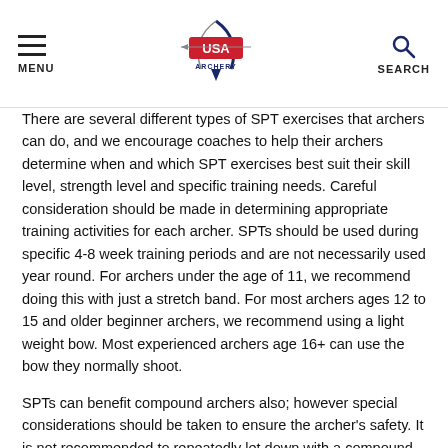MENU | USA Archery logo | SEARCH
There are several different types of SPT exercises that archers can do, and we encourage coaches to help their archers determine when and which SPT exercises best suit their skill level, strength level and specific training needs. Careful consideration should be made in determining appropriate training activities for each archer. SPTs should be used during specific 4-8 week training periods and are not necessarily used year round. For archers under the age of 11, we recommend doing this with just a stretch band. For most archers ages 12 to 15 and older beginner archers, we recommend using a light weight bow. Most experienced archers age 16+ can use the bow they normally shoot.
SPTs can benefit compound archers also; however special considerations should be taken to ensure the archer's safety. It is not recommended to repeatedly let down with a compound bow as this can increase the probability the archer injures their shoulder. It is also not recommended to draw a compound bow back without an arrow loaded as an accidental dry fire could damage the bow or injure the archer. For